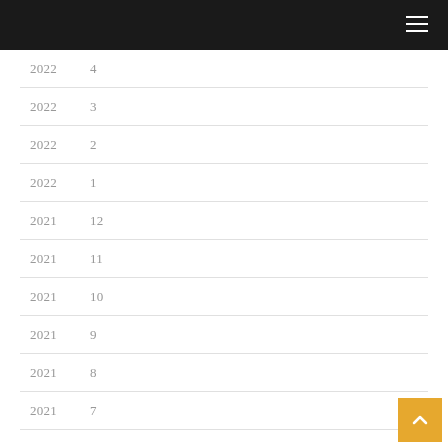2022  4
2022  3
2022  2
2022  1
2021  12
2021  11
2021  10
2021  9
2021  8
2021  7